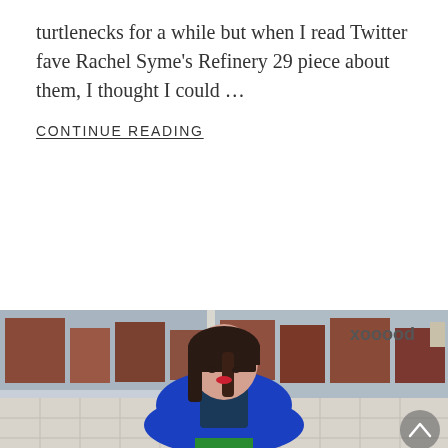turtlenecks for a while but when I read Twitter fave Rachel Syme's Refinery 29 piece about them, I thought I could …
CONTINUE READING
[Figure (photo): A woman with dark shoulder-length hair and bangs, wearing a bright blue oversized coat over a dark teal top and green trousers, standing in front of a large window that reflects a brick urban street scene.]